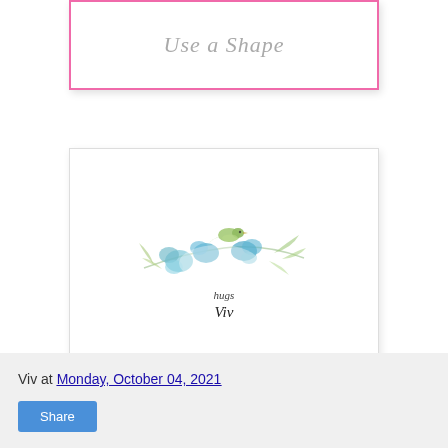[Figure (illustration): A card-style box with a pink border on white background, containing cursive italic grey text reading 'Use a Shape']
[Figure (illustration): A white card with light grey border containing a decorative signature logo: blue/teal watercolor flowers and green leaves with a small green bird, and cursive text reading 'hugs Viv']
Viv at Monday, October 04, 2021
Share